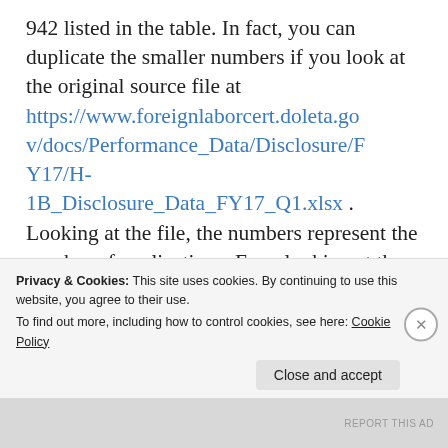942 listed in the table. In fact, you can duplicate the smaller numbers if you look at the original source file at https://www.foreignlaborcert.doleta.gov/docs/Performance_Data/Disclosure/FY17/H-1B_Disclosure_Data_FY17_Q1.xlsx . Looking at the file, the numbers represent the number of applications. Even looking at the Total Workers just increases the numbers to 2, 6, 18, 1, 37, and 929. The last number is high due to
Privacy & Cookies: This site uses cookies. By continuing to use this website, you agree to their use.
To find out more, including how to control cookies, see here: Cookie Policy
Close and accept